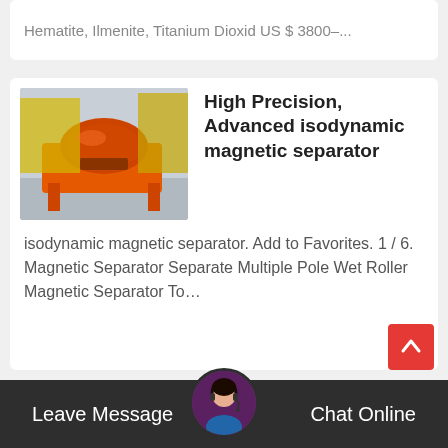Hematite, Ilmenite, Titanium Dioxid US $ 3800–...
[Figure (photo): Industrial magnetic separator machine with orange frame and cylindrical drum components in a warehouse setting]
High Precision, Advanced isodynamic magnetic separator
isodynamic magnetic separator. Add to Favorites. 1 / 6. Magnetic Separator Separate Multiple Pole Wet Roller Magnetic Separator To…
[Figure (photo): Large orange drum magnetic separator equipment in industrial setting]
Used Drum Magnetic Separators for sale.
Leave Message   Chat Online